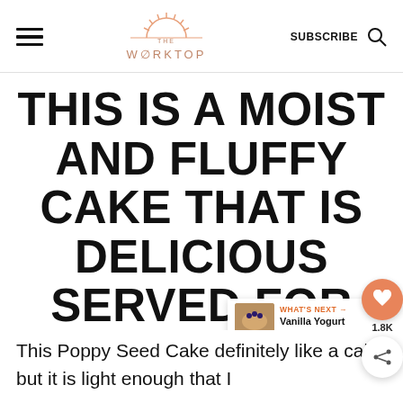THE WORKTOP | SUBSCRIBE
THIS IS A MOIST AND FLUFFY CAKE THAT IS DELICIOUS SERVED FOR BREAKFAST WITH COFFEE
This Poppy Seed Cake definitely like a cake but it is light enough that I